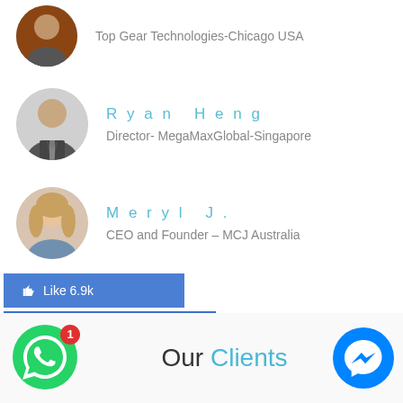Top Gear Technologies-Chicago USA
Ryan Heng
Director- MegaMaxGlobal-Singapore
Meryl J.
CEO and Founder – MCJ Australia
Like 6.9k
Followers 8.8k
169 Review
Our Clients